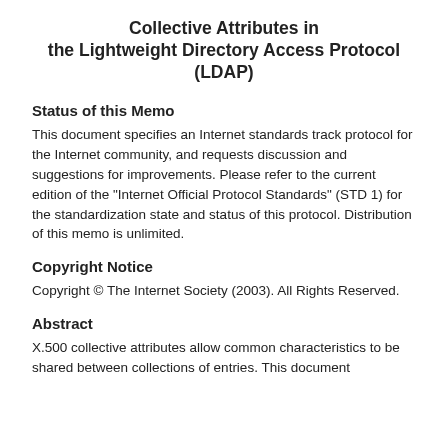Collective Attributes in the Lightweight Directory Access Protocol (LDAP)
Status of this Memo
This document specifies an Internet standards track protocol for the Internet community, and requests discussion and suggestions for improvements. Please refer to the current edition of the "Internet Official Protocol Standards" (STD 1) for the standardization state and status of this protocol. Distribution of this memo is unlimited.
Copyright Notice
Copyright © The Internet Society (2003). All Rights Reserved.
Abstract
X.500 collective attributes allow common characteristics to be shared between collections of entries. This document